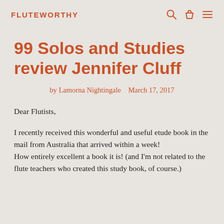FLUTEWORTHY
99 Solos and Studies review Jennifer Cluff
by Lamorna Nightingale   March 17, 2017
Dear Flutists,

I recently received this wonderful and useful etude book in the mail from Australia that arrived within a week!
How entirely excellent a book it is! (and I'm not related to the flute teachers who created this study book, of course.)